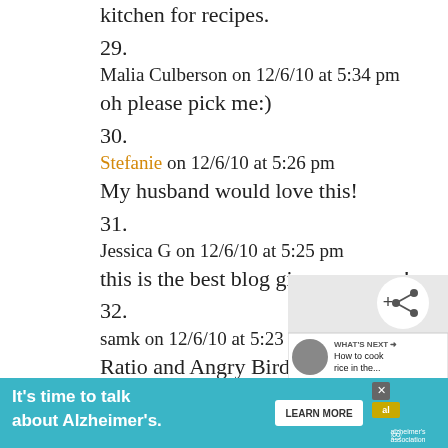kitchen for recipes.
29.
Malia Culberson on 12/6/10 at 5:34 pm
oh please pick me:)
30.
Stefanie on 12/6/10 at 5:26 pm
My husband would love this!
31.
Jessica G on 12/6/10 at 5:25 pm
this is the best blog giveaway ever!
32.
samk on 12/6/10 at 5:23 pm
Ratio and Angry Birds!
33.
BROOKE on 12/6/10 at 5:15 pm
Fave apps for iPhone “Dirty Dozen”
[Figure (screenshot): Share button (social sharing icon) and 'What's Next' panel showing 'How to cook rice in the...' with thumbnail]
[Figure (screenshot): Ad banner: 'It's time to talk about Alzheimer's.' with LEARN MORE button and Alzheimer's Association logo]